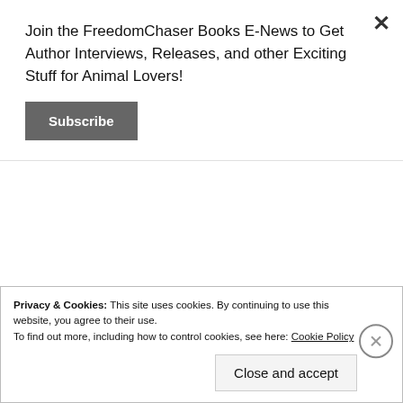Join the FreedomChaser Books E-News to Get Author Interviews, Releases, and other Exciting Stuff for Animal Lovers!
Subscribe
[Figure (photo): A colorful artistic photo of a greyhound or similar dog wearing a colorful patterned jacket, with red and blue abstract colors.]
twenty-four years,
volunteering with Ohio humane group Valley Save-a-Pet. An author, artist, and animal advocate, Wulff uses
Privacy & Cookies: This site uses cookies. By continuing to use this website, you agree to their use.
To find out more, including how to control cookies, see here: Cookie Policy
Close and accept